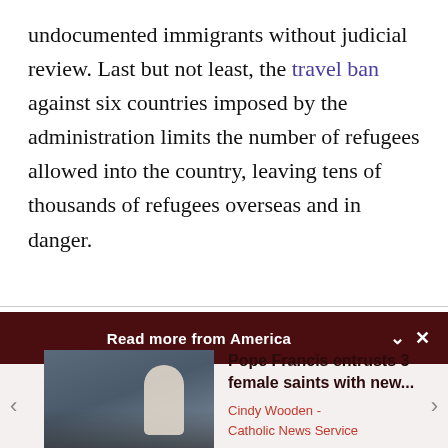undocumented immigrants without judicial review. Last but not least, the travel ban against six countries imposed by the administration limits the number of refugees allowed into the country, leaving tens of thousands of refugees overseas and in danger.
Read more from America
[Figure (photo): Photo of Pope Francis meeting with a group of people, including individuals from diverse backgrounds, in what appears to be an indoor setting]
Pope Francis entrusts 3 female saints with new...
Cindy Wooden - Catholic News Service